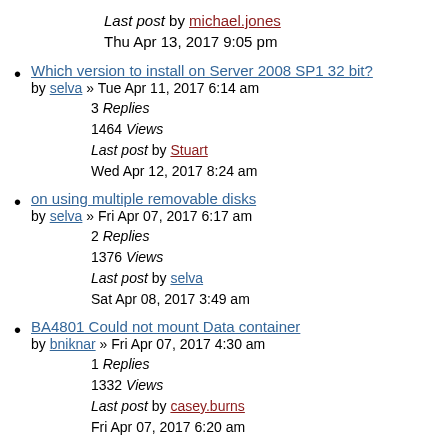Last post by michael.jones
Thu Apr 13, 2017 9:05 pm
Which version to install on Server 2008 SP1 32 bit?
by selva » Tue Apr 11, 2017 6:14 am
3 Replies
1464 Views
Last post by Stuart
Wed Apr 12, 2017 8:24 am
on using multiple removable disks
by selva » Fri Apr 07, 2017 6:17 am
2 Replies
1376 Views
Last post by selva
Sat Apr 08, 2017 3:49 am
BA4801 Could not mount Data container
by bniknar » Fri Apr 07, 2017 4:30 am
1 Replies
1332 Views
Last post by casey.burns
Fri Apr 07, 2017 6:20 am
backing up hosted/office365 exchange servers